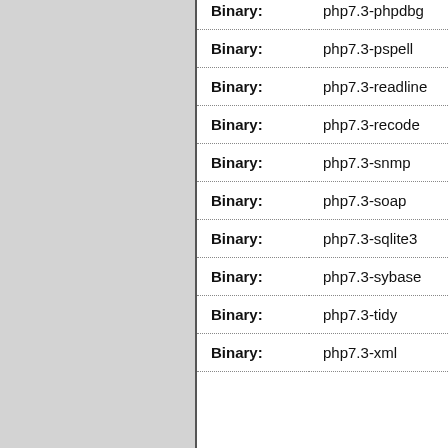| Label | Value |
| --- | --- |
| Binary: | php7.3-phpdbg |
| Binary: | php7.3-pspell |
| Binary: | php7.3-readline |
| Binary: | php7.3-recode |
| Binary: | php7.3-snmp |
| Binary: | php7.3-soap |
| Binary: | php7.3-sqlite3 |
| Binary: | php7.3-sybase |
| Binary: | php7.3-tidy |
| Binary: | php7.3-xml |